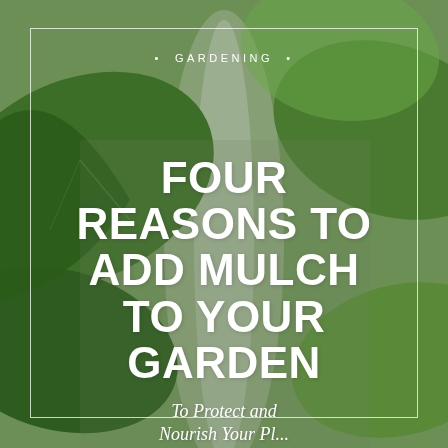[Figure (photo): Close-up blurred photograph of large green leaves with a soft grey/green bokeh background, serving as the page background for a gardening article cover]
• GARDENING •
FOUR REASONS TO ADD MULCH TO YOUR GARDEN
To Protect and Nourish Your Pl...